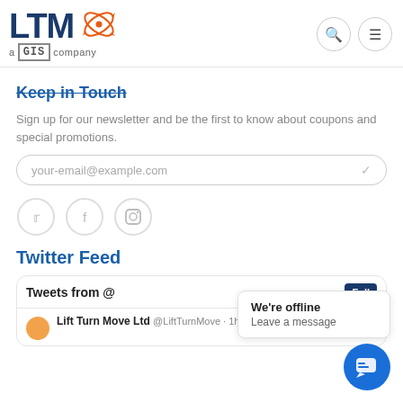LTM GIS company — navigation header with search and menu icons
Keep in touch
Sign up for our newsletter and be the first to know about coupons and special promotions.
your-email@example.com
[Figure (infographic): Three social media icon circles: Twitter, Facebook, Instagram]
Twitter Feed
Tweets from @  Follow
Lift Turn Move Ltd @LiftTurnMove · 1h
We're offline
Leave a message